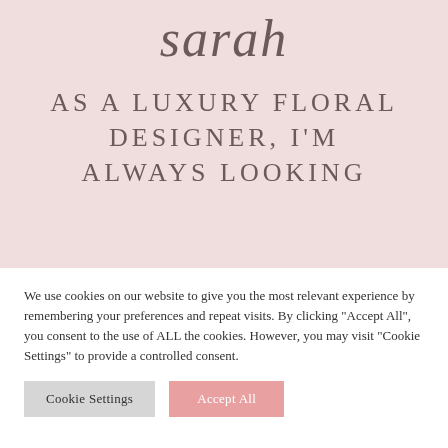sarah
AS A LUXURY FLORAL DESIGNER, I'M ALWAYS LOOKING
We use cookies on our website to give you the most relevant experience by remembering your preferences and repeat visits. By clicking "Accept All", you consent to the use of ALL the cookies. However, you may visit "Cookie Settings" to provide a controlled consent.
Cookie Settings | Accept All